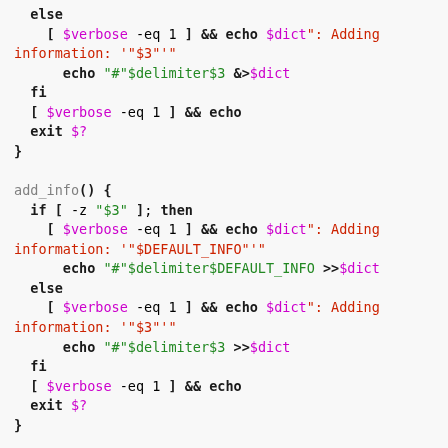Shell script code block showing else/fi blocks, add_info() function, and info() function with bash syntax highlighting